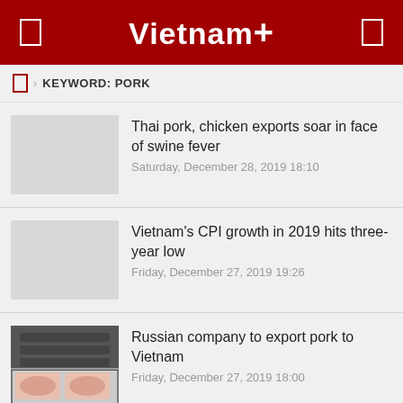Vietnam+
KEYWORD: PORK
Thai pork, chicken exports soar in face of swine fever | Saturday, December 28, 2019 18:10
Vietnam's CPI growth in 2019 hits three-year low | Friday, December 27, 2019 19:26
Russian company to export pork to Vietnam | Friday, December 27, 2019 18:00